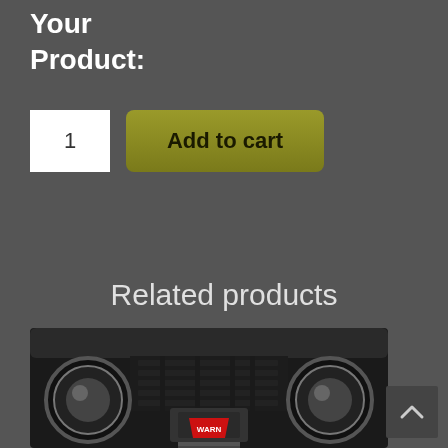Your
Product:
1
Add to cart
Related products
[Figure (photo): Close-up photo of a Jeep front end with a WARN winch, bull bar, and round headlights visible]
^